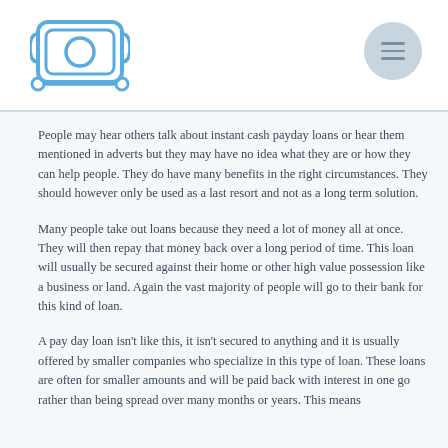People may hear others talk about instant cash payday loans or hear them mentioned in adverts but they may have no idea what they are or how they can help people. They do have many benefits in the right circumstances. They should however only be used as a last resort and not as a long term solution.
Many people take out loans because they need a lot of money all at once. They will then repay that money back over a long period of time. This loan will usually be secured against their home or other high value possession like a business or land. Again the vast majority of people will go to their bank for this kind of loan.
A pay day loan isn’t like this, it isn’t secured to anything and it is usually offered by smaller companies who specialize in this type of loan. These loans are often for smaller amounts and will be paid back with interest in one go rather than being spread over many months or years. This means